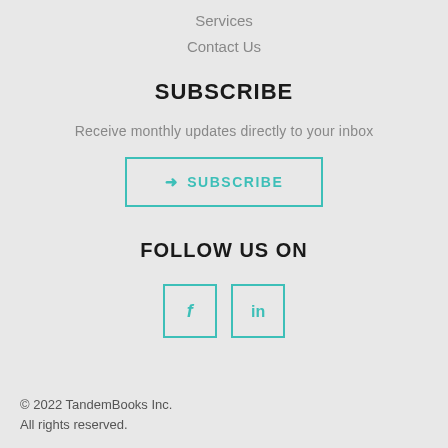Services
Contact Us
SUBSCRIBE
Receive monthly updates directly to your inbox
→ SUBSCRIBE
FOLLOW US ON
[Figure (illustration): Two social media icon buttons: Facebook (f) and LinkedIn (in), both outlined in teal color]
© 2022 TandemBooks Inc.
All rights reserved.